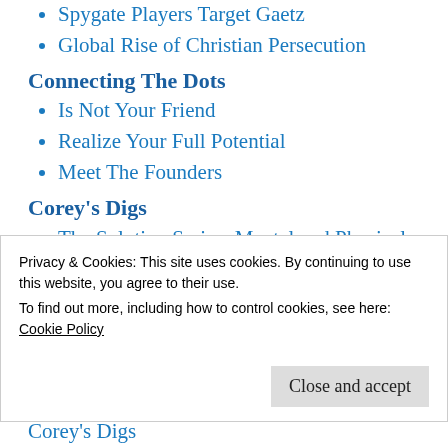Spygate Players Target Gaetz
Global Rise of Christian Persecution
Connecting The Dots
Is Not Your Friend
Realize Your Full Potential
Meet The Founders
Corey's Digs
The Solution Series: Mental and Physical Preparedness with John Cain Carter
A Glorious Synthetic World
Privacy & Cookies: This site uses cookies. By continuing to use this website, you agree to their use.
To find out more, including how to control cookies, see here: Cookie Policy
Close and accept
Corey's Digs